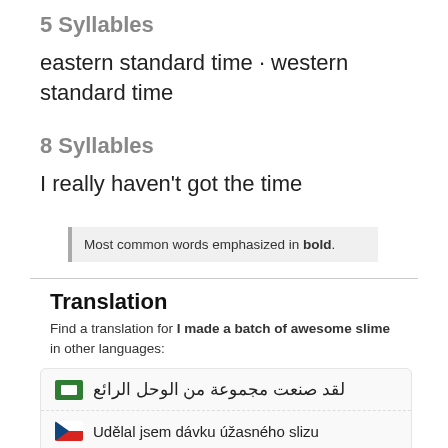5 Syllables
eastern standard time · western standard time
8 Syllables
I really haven't got the time
Most common words emphasized in bold.
Translation
Find a translation for I made a batch of awesome slime in other languages:
لقد صنعت مجموعة من الوحل الرائع
Udělal jsem dávku úžasného slizu